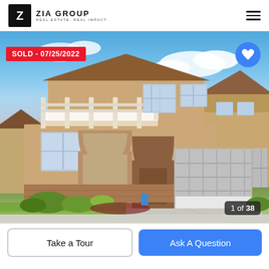ZIA GROUP REAL ESTATE. REAL IMPACT.
[Figure (photo): Exterior photo of a two-story stucco home with covered balcony, arched entryways, two-car garage, and landscaped front yard. Blue sky with clouds in background.]
SOLD - 07/25/2022
1 of 38
Take a Tour
Ask A Question